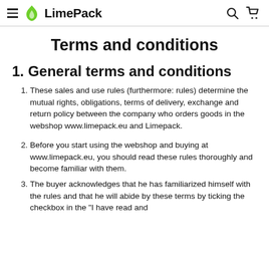LimePack
Terms and conditions
1. General terms and conditions
These sales and use rules (furthermore: rules) determine the mutual rights, obligations, terms of delivery, exchange and return policy between the company who orders goods in the webshop www.limepack.eu and Limepack.
Before you start using the webshop and buying at www.limepack.eu, you should read these rules thoroughly and become familiar with them.
The buyer acknowledges that he has familiarized himself with the rules and that he will abide by these terms by ticking the checkbox in the "I have read and